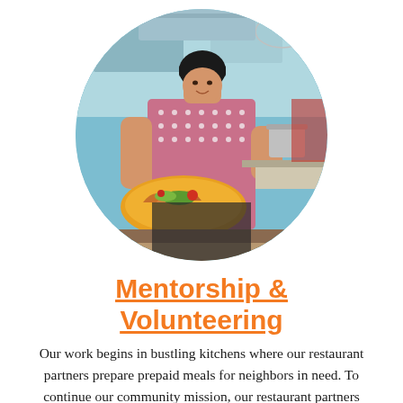[Figure (photo): A woman with short dark hair and bangs wearing a patterned dress standing in a kitchen, holding a plate with food including what appears to be tacos or wraps with colorful garnishes. The photo is cropped in a circle.]
Mentorship & Volunteering
Our work begins in bustling kitchens where our restaurant partners prepare prepaid meals for neighbors in need. To continue our community mission, our restaurant partners are paired with a Prosper Chicago mentor who provides support with